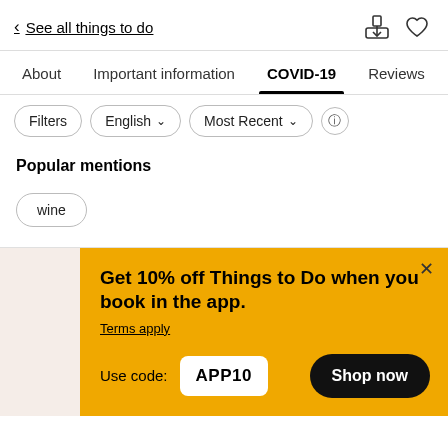< See all things to do
About  Important information  COVID-19  Reviews
Filters  English ∨  Most Recent ∨  ⓘ
Popular mentions
wine
Get 10% off Things to Do when you book in the app. Terms apply  Use code: APP10  Shop now